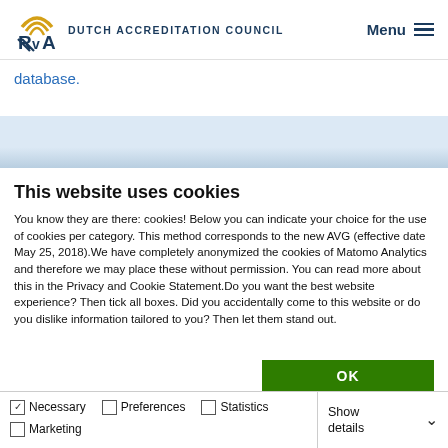RvA Dutch Accreditation Council — Menu
database.
This website uses cookies
You know they are there: cookies! Below you can indicate your choice for the use of cookies per category. This method corresponds to the new AVG (effective date May 25, 2018).We have completely anonymized the cookies of Matomo Analytics and therefore we may place these without permission. You can read more about this in the Privacy and Cookie Statement.Do you want the best website experience? Then tick all boxes. Did you accidentally come to this website or do you dislike information tailored to you? Then let them stand out.
OK
Necessary | Preferences | Statistics | Marketing | Show details